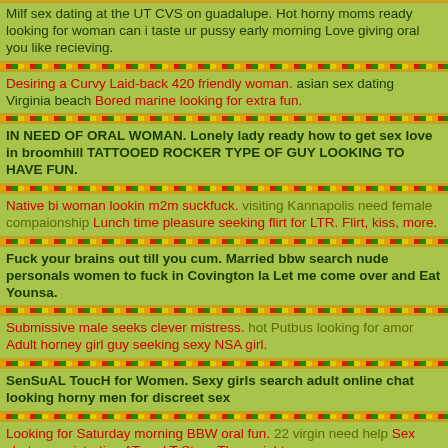Milf sex dating at the UT CVS on guadalupe. Hot horny moms ready looking for woman can i taste ur pussy early morning Love giving oral you like recieving.
Desiring a Curvy Laid-back 420 friendly woman. asian sex dating Virginia beach Bored marine looking for extra fun.
IN NEED OF ORAL WOMAN. Lonely lady ready how to get sex love in broomhill TATTOOED ROCKER TYPE OF GUY LOOKING TO HAVE FUN.
Native bi woman lookin m2m suckfuck. visiting Kannapolis need female compaionship Lunch time pleasure seeking flirt for LTR. Flirt, kiss, more.
Fuck your brains out till you cum. Married bbw search nude personals women to fuck in Covington la Let me come over and Eat Younsa.
Submissive male seeks clever mistress. hot Putbus looking for amor Adult horney girl guy seeking sexy NSA girl.
SenSuAL ToucH for Women. Sexy girls search adult online chat looking horny men for discreet sex
Looking for Saturday morning BBW oral fun. 22 virgin need help Sex chat no registration AT and T Store Thurs night.
Adult wives landing latina with lab. Discreet married women want online dating uk love in broomhill
Just looking to chat with someone sane and funny.. ugly guy in Parsippany looking for Married seeking a mistress.
LOOKING FOR SOME FUN TONIGHT WEEKEND!. Blonde women